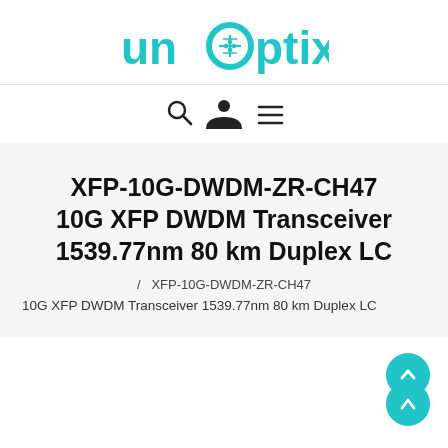[Figure (logo): Unoptix logo with teal circuit board icon inside the 'o' and teal colored text]
[Figure (infographic): Navigation icons: search (magnifier), user (person), and hamburger menu]
XFP-10G-DWDM-ZR-CH47 10G XFP DWDM Transceiver 1539.77nm 80 km Duplex LC
/ XFP-10G-DWDM-ZR-CH47
10G XFP DWDM Transceiver 1539.77nm 80 km Duplex LC